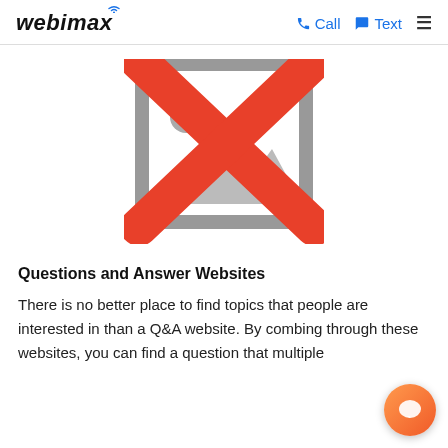webimax  Call  Text
[Figure (illustration): A broken image placeholder icon — a grey square frame with a grey mountain/landscape icon inside, overlaid with a large red X (crossed out image).]
Questions and Answer Websites
There is no better place to find topics that people are interested in than a Q&A website. By combing through these websites, you can find a question that multiple